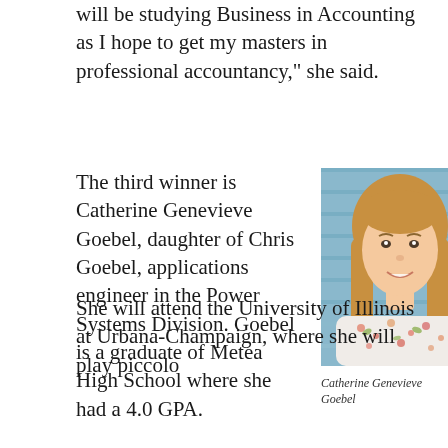will be studying Business in Accounting as I hope to get my masters in professional accountancy," she said.
The third winner is Catherine Genevieve Goebel, daughter of Chris Goebel, applications engineer in the Power Systems Division. Goebel is a graduate of Metea High School where she had a 4.0 GPA. She will attend the University of Illinois at Urbana-Champaign, where she will play piccolo
[Figure (photo): Portrait photo of Catherine Genevieve Goebel, a young woman with long straight light brown hair, smiling, wearing a floral shirt, photographed against a blue paneled wall background.]
Catherine Genevieve Goebel